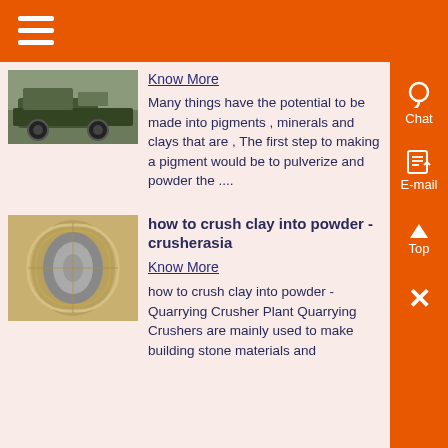[Figure (photo): Partial view of industrial truck/machinery on a road]
Know More
Many things have the potential to be made into pigments , minerals and clays that are , The first step to making a pigment would be to pulverize and powder the ....
[Figure (photo): Metal cylindrical component, possibly a roller or tube, photographed on a floor surface]
how to crush clay into powder - crusherasia
Know More
how to crush clay into powder - Quarrying Crusher Plant Quarrying Crushers are mainly used to make building stone materials and